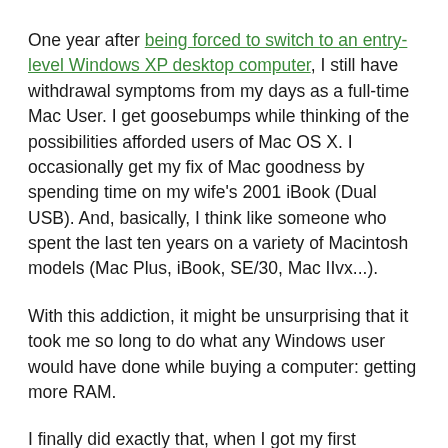One year after being forced to switch to an entry-level Windows XP desktop computer, I still have withdrawal symptoms from my days as a full-time Mac User. I get goosebumps while thinking of the possibilities afforded users of Mac OS X. I occasionally get my fix of Mac goodness by spending time on my wife's 2001 iBook (Dual USB). And, basically, I think like someone who spent the last ten years on a variety of Macintosh models (Mac Plus, iBook, SE/30, Mac IIvx...).
With this addiction, it might be unsurprising that it took me so long to do what any Windows user would have done while buying a computer: getting more RAM.
I finally did exactly that, when I got my first paycheck for the semester. Got a 512MB DIMM a couple of weeks ago and it transformed my PC-using life from a nightmare into something comfortably dull and uninteresting. Not bad for an $80